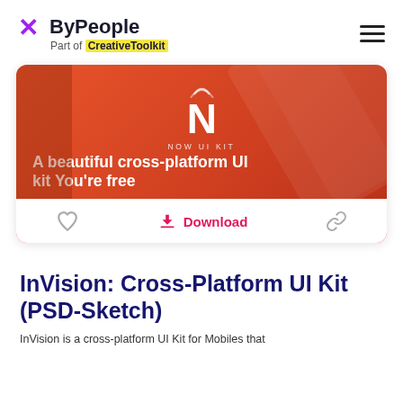ByPeople — Part of CreativeToolkit
[Figure (screenshot): Orange gradient card showing 'NOW UI KIT' with a large N logo, tagline 'A beautiful cross-platform UI kit. You're free...' and action buttons: heart, Download, and link icon at the bottom.]
InVision: Cross-Platform UI Kit (PSD-Sketch)
InVision is a cross-platform UI Kit for Mobiles that